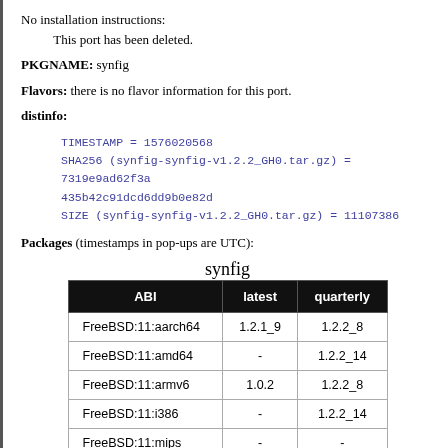No installation instructions:
            This port has been deleted.
PKGNAME: synfig
Flavors: there is no flavor information for this port.
distinfo:
TIMESTAMP = 1576020568
SHA256 (synfig-synfig-v1.2.2_GH0.tar.gz) = 7319e9ad62f3a435b42c91dcd6dd9b0e82d
SIZE (synfig-synfig-v1.2.2_GH0.tar.gz) = 11107386
Packages (timestamps in pop-ups are UTC):
synfig
| ABI | latest | quarterly |
| --- | --- | --- |
| FreeBSD:11:aarch64 | 1.2.1_9 | 1.2.2_8 |
| FreeBSD:11:amd64 | - | 1.2.2_14 |
| FreeBSD:11:armv6 | 1.0.2 | 1.2.2_8 |
| FreeBSD:11:i386 | - | 1.2.2_14 |
| FreeBSD:11:mips | - | - |
| FreeBSD:11:mips64 | - | - |